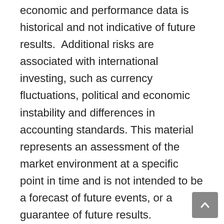economic and performance data is historical and not indicative of future results.  Additional risks are associated with international investing, such as currency fluctuations, political and economic instability and differences in accounting standards. This material represents an assessment of the market environment at a specific point in time and is not intended to be a forecast of future events, or a guarantee of future results. MarketingPro, Inc. is not affiliated with any person or firm that may be providing this information to you. The publisher is not engaged in rendering legal, accounting or other professional services. If assistance is